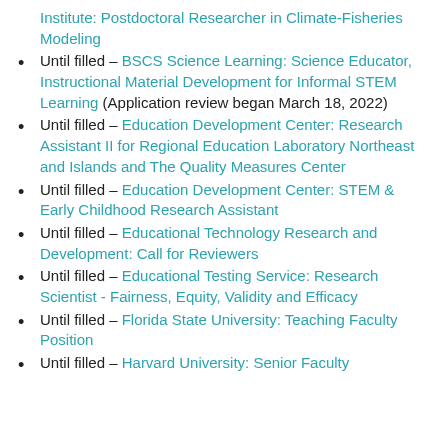Institute: Postdoctoral Researcher in Climate-Fisheries Modeling
Until filled – BSCS Science Learning: Science Educator, Instructional Material Development for Informal STEM Learning (Application review began March 18, 2022)
Until filled – Education Development Center: Research Assistant II for Regional Education Laboratory Northeast and Islands and The Quality Measures Center
Until filled – Education Development Center: STEM & Early Childhood Research Assistant
Until filled – Educational Technology Research and Development: Call for Reviewers
Until filled – Educational Testing Service: Research Scientist - Fairness, Equity, Validity and Efficacy
Until filled – Florida State University: Teaching Faculty Position
Until filled – Harvard University: Senior Faculty